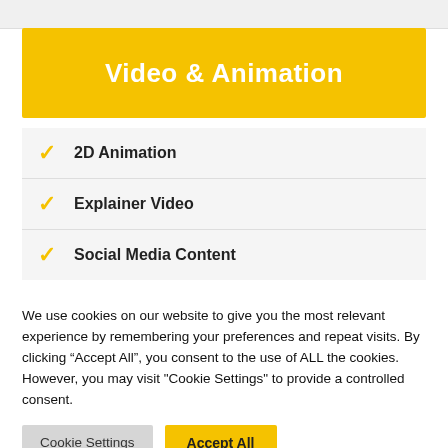Video & Animation
2D Animation
Explainer Video
Social Media Content
We use cookies on our website to give you the most relevant experience by remembering your preferences and repeat visits. By clicking “Accept All”, you consent to the use of ALL the cookies. However, you may visit “Cookie Settings” to provide a controlled consent.
Cookie Settings | Accept All